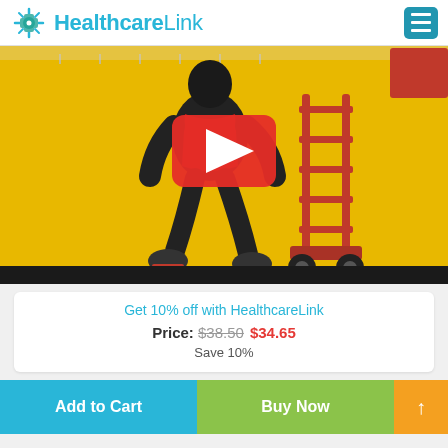HealthcareLink
[Figure (screenshot): YouTube video thumbnail showing an animated delivery person in black and red jacket with a hand truck/dolly, on a yellow background. A red YouTube play button is overlaid in the center.]
Get 10% off with HealthcareLink
Price: $38.50  $34.65
Save 10%
Add to Cart
Buy Now